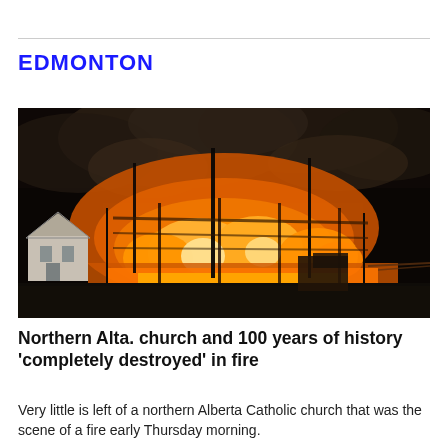EDMONTON
[Figure (photo): Night-time photograph of a large building engulfed in intense orange fire and smoke, with a small white house to the left and tall metal poles visible amid the flames.]
Northern Alta. church and 100 years of history 'completely destroyed' in fire
Very little is left of a northern Alberta Catholic church that was the scene of a fire early Thursday morning.